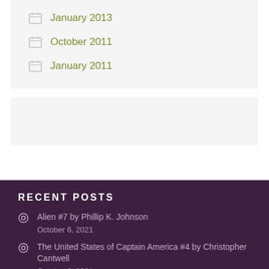January 2013
October 2011
January 2011
RECENT POSTS
Alien #7 by Phillip K. Johnson
October 6, 2021
The United States of Captain America #4 by Christopher Cantwell
October 6, 2021